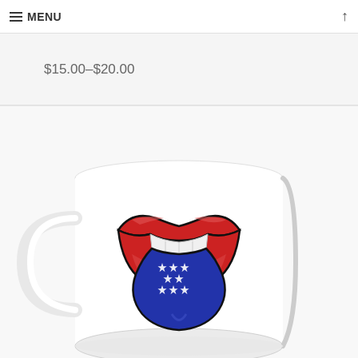≡ MENU
$15.00–$20.00
[Figure (photo): White ceramic coffee mug with a Rolling Stones-style lips and tongue graphic; the tongue is blue with white stars (American flag style), the lips are red, against a white mug background.]